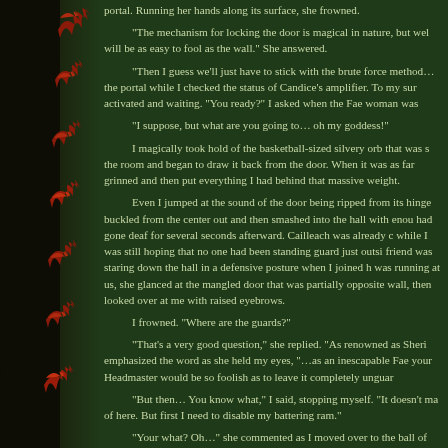portal. Running her hands along its surface, she frowned.
“The mechanism for locking the door is magical in nature, but well will be as easy to fool as the wall.” She answered.
“Then I guess we’ll just have to stick with the brute force method… the portal while I checked the status of Candice’s amplifier. To my sur activated and waiting. “You ready?” I asked when the Fae woman was
“I suppose, but what are you going to… oh my goddess!”
I magically took hold of the basketball-sized silvery orb that was s the room and began to draw it back from the door. When it was as far grinned and then put everything I had behind that massive weight.
Even I jumped at the sound of the door being ripped from its hinge buckled from the center out and then smashed into the hall with enou had gone deaf for several seconds afterward. Cailleach was already c while I was still hoping that no one had been standing guard just outsi friend was staring down the hall in a defensive posture when I joined h was running at us, she glanced at the mangled door that was partially opposite wall, then looked over at me with raised eyebrows.
I frowned. “Where are the guards?”
“That’s a very good question,” she replied. “As renowned as Sheri emphasized the word as she held my eyes, “…as an inescapable Fae your Headmaster would be so foolish as to leave it completely unguar
“But then… You know what,” I said, stopping myself. “It doesn’t ma of here. But first I need to disable my battering ram.”
“Your what? Oh…” she commented as I moved over to the ball of into the bent and broken door. “Are you sure you don’t want to bring it an interesting way to get people out of our way.”